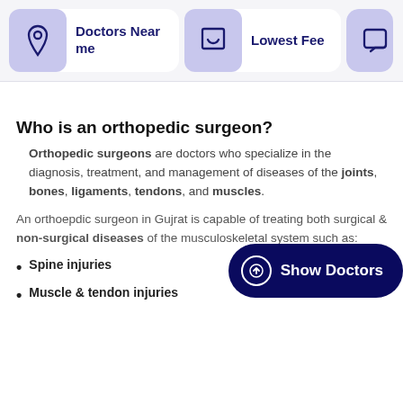Doctors Near me | Lowest Fee
Who is an orthopedic surgeon?
Orthopedic surgeons are doctors who specialize in the diagnosis, treatment, and management of diseases of the joints, bones, ligaments, tendons, and muscles.
An orthoepdic surgeon in Gujrat is capable of treating both surgical & non-surgical diseases of the musculoskeletal system such as:
Spine injuries
Muscle & tendon injuries